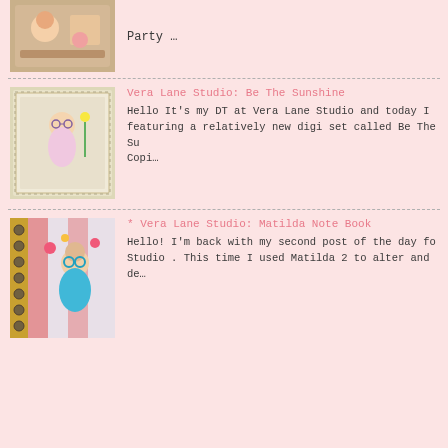[Figure (illustration): Thumbnail image of a crafted card with cartoon characters]
Party …
[Figure (illustration): Thumbnail image of a cross-stitch or detailed craft card featuring a girl with flowers]
Vera Lane Studio: Be The Sunshine
Hello It's my DT at Vera Lane Studio and today I featuring a relatively new digi set called Be The Su Copi…
[Figure (illustration): Thumbnail image of an altered notebook with Matilda character]
* Vera Lane Studio: Matilda Note Book
Hello! I'm back with my second post of the day fo Studio .  This time I used Matilda 2 to alter and de…